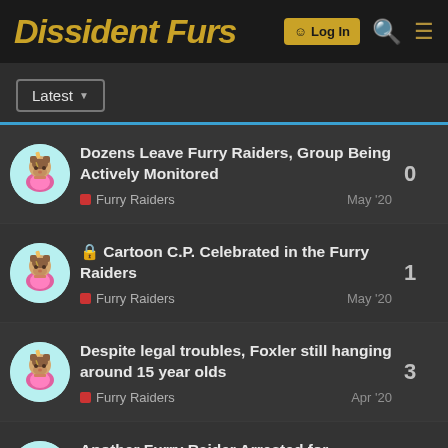Dissident Furs
Dozens Leave Furry Raiders, Group Being Actively Monitored | Furry Raiders | May '20 | 0
Cartoon C.P. Celebrated in the Furry Raiders | Furry Raiders | May '20 | 1
Despite legal troubles, Foxler still hanging around 15 year olds | Furry Raiders | Apr '20 | 3
Another Furry Raider Arrested for endangering children | Furry Raiders | Apr '20 | 1